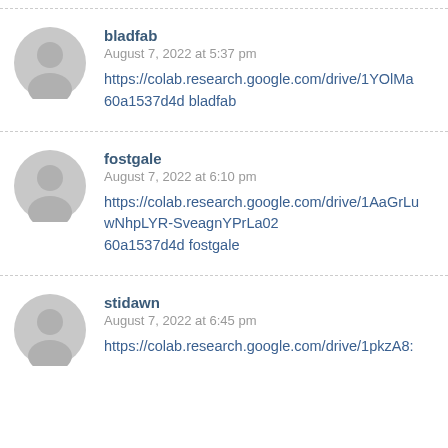bladfab
August 7, 2022 at 5:37 pm
https://colab.research.google.com/drive/1YOlMa60a1537d4d bladfab
fostgale
August 7, 2022 at 6:10 pm
https://colab.research.google.com/drive/1AaGrLuwNhpLYR-SveagnYPrLa02
60a1537d4d fostgale
stidawn
August 7, 2022 at 6:45 pm
https://colab.research.google.com/drive/1pkzA8: